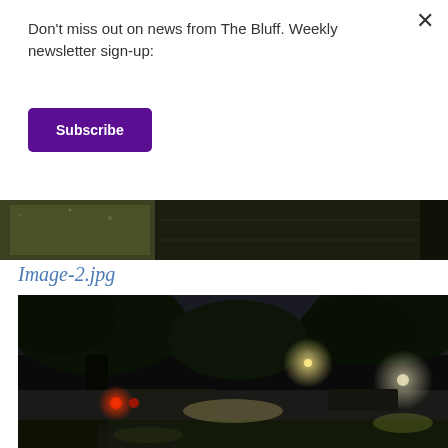Don't miss out on news from The Bluff. Weekly newsletter sign-up:
Subscribe
[Figure (photo): Dark close-up photo strip showing what appears to be a wet surface or vehicle at night]
Image-2.jpg
[Figure (photo): Nighttime street scene with trees, street lights, and cars on a wet road]